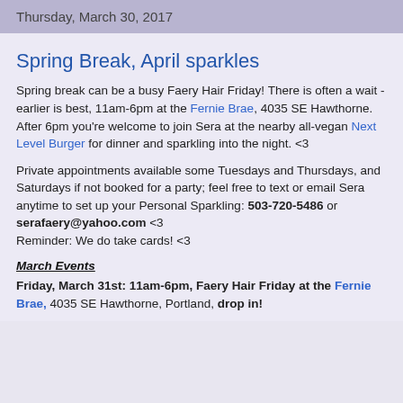Thursday, March 30, 2017
Spring Break, April sparkles
Spring break can be a busy Faery Hair Friday! There is often a wait - earlier is best, 11am-6pm at the Fernie Brae, 4035 SE Hawthorne. After 6pm you're welcome to join Sera at the nearby all-vegan Next Level Burger for dinner and sparkling into the night. <3
Private appointments available some Tuesdays and Thursdays, and Saturdays if not booked for a party; feel free to text or email Sera anytime to set up your Personal Sparkling: 503-720-5486 or serafaery@yahoo.com <3 Reminder: We do take cards! <3
March Events
Friday, March 31st: 11am-6pm, Faery Hair Friday at the Fernie Brae, 4035 SE Hawthorne, Portland, drop in!